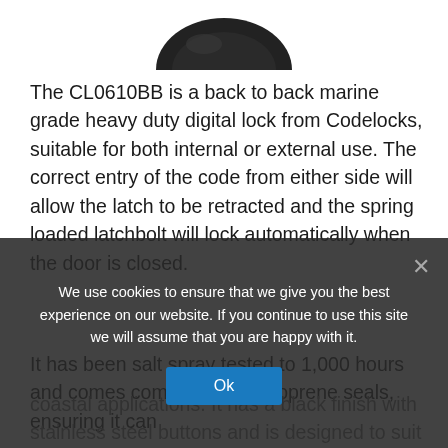[Figure (photo): Partial product image (top portion of a black circular digital lock), cropped at top of page.]
The CL0610BB is a back to back marine grade heavy duty digital lock from Codelocks, suitable for both internal or external use. The correct entry of the code from either side will allow the latch to be retracted and the spring loaded latchbolt will lock automatically when the door is closed.
It has been salt spray tested to 1,000 hours and comes complete with neoprene seals, ensuring it can withstand harsh coastal applications. It has a black finish with stainless steel buttons and is designed to suit doors with a thickness of 35mm to 61mm. There are up to 8,191 non-sequential code combinations available and
We use cookies to ensure that we give you the best experience on our website. If you continue to use this site we will assume that you are happy with it.